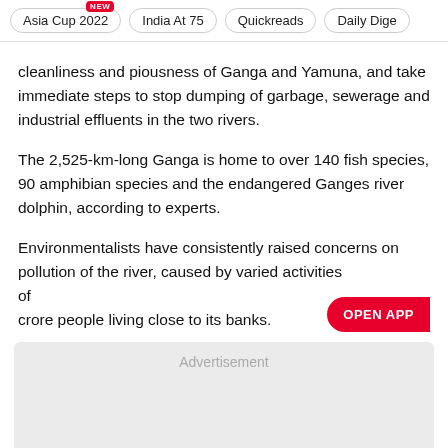Asia Cup 2022 | India At 75 | Quickreads | Daily Dige
cleanliness and piousness of Ganga and Yamuna, and take immediate steps to stop dumping of garbage, sewerage and industrial effluents in the two rivers.
The 2,525-km-long Ganga is home to over 140 fish species, 90 amphibian species and the endangered Ganges river dolphin, according to experts.
Environmentalists have consistently raised concerns on pollution of the river, caused by varied activities of crore people living close to its banks.
[Figure (other): Advertisement placeholder box]